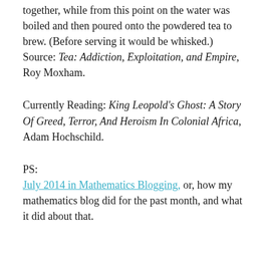together, while from this point on the water was boiled and then poured onto the powdered tea to brew. (Before serving it would be whisked.)
Source: Tea: Addiction, Exploitation, and Empire, Roy Moxham.
Currently Reading: King Leopold's Ghost: A Story Of Greed, Terror, And Heroism In Colonial Africa, Adam Hochschild.
PS:
July 2014 in Mathematics Blogging, or, how my mathematics blog did for the past month, and what it did about that.